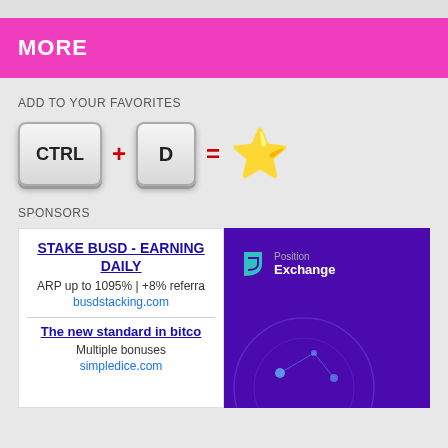MORE
ADD TO YOUR FAVORITES
[Figure (illustration): Keyboard shortcut illustration: CTRL + D = star (favorites)]
SPONSORS
[Figure (screenshot): Ad: STAKE BUSD - EARNING DAILY, ARP up to 1095% | +8% referral, busdstacking.com | The new standard in bitcoin, Multiple bonuses, simpledice.com]
[Figure (illustration): Position Exchange advertisement with purple background and logo]